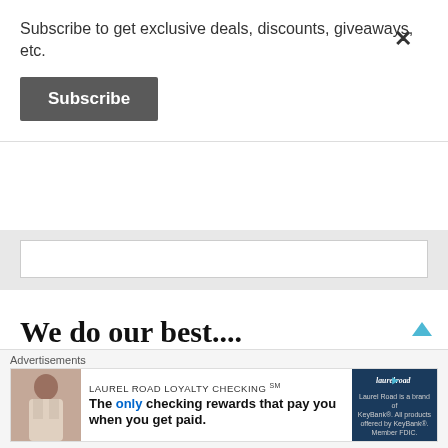Subscribe to get exclusive deals, discounts, giveaways, etc.
Subscribe
We do our best....
Please note: we do our best to provide accurate, useful information about event and activities.  Information is gathered from user submissions, press releases, local newspapers,
Advertisements
[Figure (infographic): Laurel Road Loyalty Checking advertisement: 'The only checking rewards that pay you when you get paid.' with photo of woman and Laurel Road logo panel.]